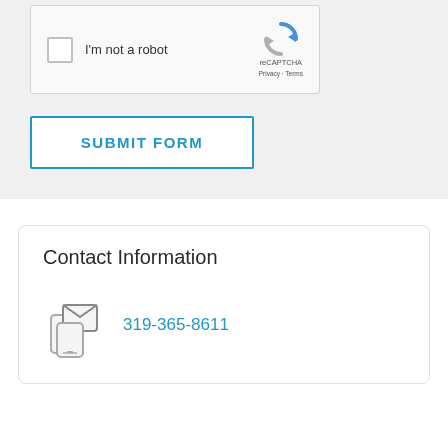[Figure (screenshot): reCAPTCHA widget with checkbox labeled I'm not a robot and reCAPTCHA logo with Privacy and Terms links]
[Figure (screenshot): SUBMIT FORM button with blue border and blue text on white background]
Contact Information
[Figure (illustration): Email/contact icon showing overlapping envelope and phone shapes in gray outline style]
319-365-8611